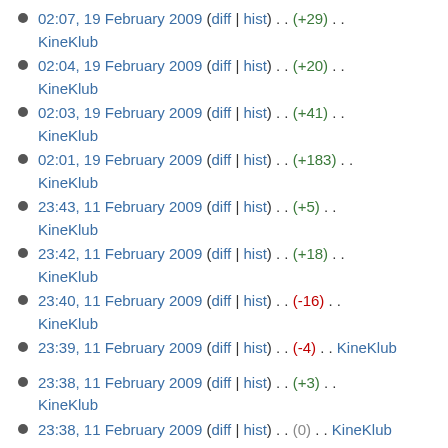02:07, 19 February 2009 (diff | hist) . . (+29) . . KineKlub
02:04, 19 February 2009 (diff | hist) . . (+20) . . KineKlub
02:03, 19 February 2009 (diff | hist) . . (+41) . . KineKlub
02:01, 19 February 2009 (diff | hist) . . (+183) . . KineKlub
23:43, 11 February 2009 (diff | hist) . . (+5) . . KineKlub
23:42, 11 February 2009 (diff | hist) . . (+18) . . KineKlub
23:40, 11 February 2009 (diff | hist) . . (-16) . . KineKlub
23:39, 11 February 2009 (diff | hist) . . (-4) . . KineKlub
23:38, 11 February 2009 (diff | hist) . . (+3) . . KineKlub
23:38, 11 February 2009 (diff | hist) . . (0) . . KineKlub
23:38, 11 February 2009 (diff | hist) . . (+1) . . KineKlub
23:37, 11 February 2009 (diff | hist) . . (+344) . . KineKlub